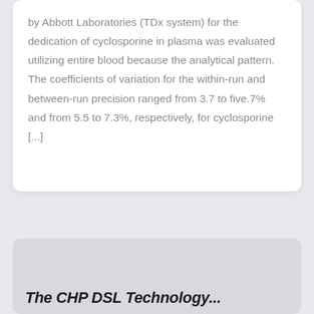by Abbott Laboratories (TDx system) for the dedication of cyclosporine in plasma was evaluated utilizing entire blood because the analytical pattern. The coefficients of variation for the within-run and between-run precision ranged from 3.7 to five.7% and from 5.5 to 7.3%, respectively, for cyclosporine [...]
The CHP DSL Technology...